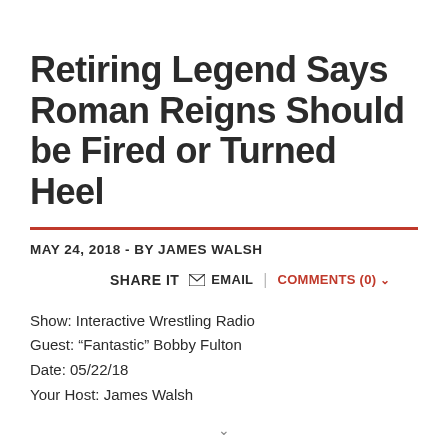Retiring Legend Says Roman Reigns Should be Fired or Turned Heel
MAY 24, 2018 - BY JAMES WALSH
SHARE IT  EMAIL  COMMENTS (0)
Show: Interactive Wrestling Radio
Guest: “Fantastic” Bobby Fulton
Date: 05/22/18
Your Host: James Walsh